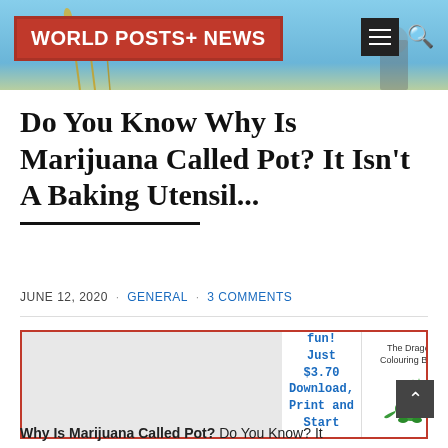WORLD POSTS+ NEWS
Do You Know Why Is Marijuana Called Pot? It Isn't A Baking Utensil...
JUNE 12, 2020 · GENERAL · 3 COMMENTS
[Figure (screenshot): Advertisement banner with red border. Left side shows a gray placeholder image. Center shows text in blue: 'Hours of colouring fun! Just $3.70 Download, Print and Start' with an orange LEARN MORE button. Right side shows 'The Dragon Colouring Book' with a cartoon dragon illustration.]
Why Is Marijuana Called Pot? Do You Know? It